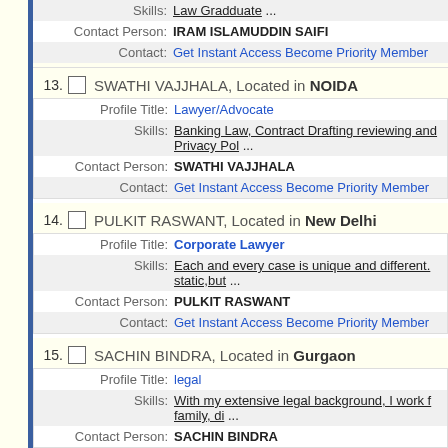| Field | Value |
| --- | --- |
| Skills: | Law Gradduate ... |
| Contact Person: | IRAM ISLAMUDDIN SAIFI |
| Contact: | Get Instant Access Become Priority Member |
13. SWATHI VAJJHALA, Located in NOIDA
| Field | Value |
| --- | --- |
| Profile Title: | Lawyer/Advocate |
| Skills: | Banking Law, Contract Drafting reviewing and Privacy Pol ... |
| Contact Person: | SWATHI VAJJHALA |
| Contact: | Get Instant Access Become Priority Member |
14. PULKIT RASWANT, Located in New Delhi
| Field | Value |
| --- | --- |
| Profile Title: | Corporate Lawyer |
| Skills: | Each and every case is unique and different. static,but ... |
| Contact Person: | PULKIT RASWANT |
| Contact: | Get Instant Access Become Priority Member |
15. SACHIN BINDRA, Located in Gurgaon
| Field | Value |
| --- | --- |
| Profile Title: | legal |
| Skills: | With my extensive legal background, I work f family, di ... |
| Contact Person: | SACHIN BINDRA |